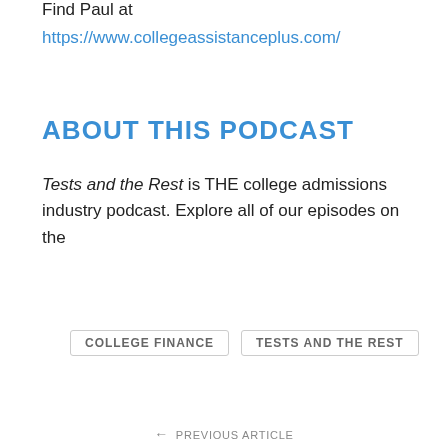Find Paul at
https://www.collegeassistanceplus.com/
ABOUT THIS PODCAST
Tests and the Rest is THE college admissions industry podcast. Explore all of our episodes on the
COLLEGE FINANCE
TESTS AND THE REST
← PREVIOUS ARTICLE